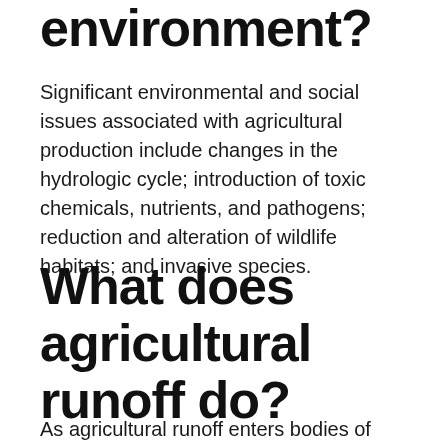environment?
Significant environmental and social issues associated with agricultural production include changes in the hydrologic cycle; introduction of toxic chemicals, nutrients, and pathogens; reduction and alteration of wildlife habitats; and invasive species.
What does agricultural runoff do?
As agricultural runoff enters bodies of water it can have negative impacts on the